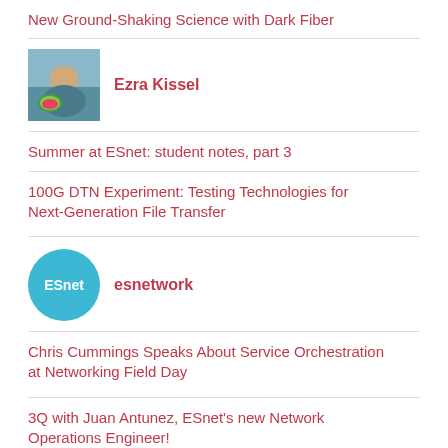New Ground-Shaking Science with Dark Fiber
[Figure (photo): Profile photo of Ezra Kissel showing a person outdoors near water with a large watermelon]
Ezra Kissel
Summer at ESnet: student notes, part 3
100G DTN Experiment: Testing Technologies for Next-Generation File Transfer
[Figure (logo): ESnet circular logo with teal background and white ESnet text]
esnetwork
Chris Cummings Speaks About Service Orchestration at Networking Field Day
3Q with Juan Antunez, ESnet's new Network Operations Engineer!